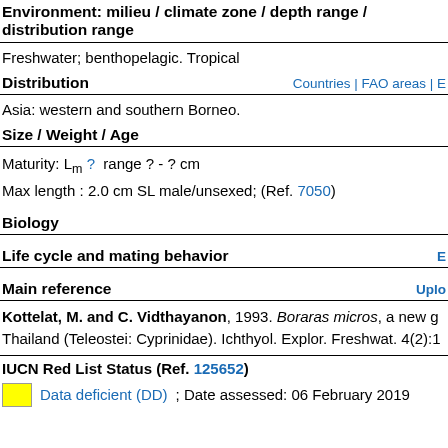Environment: milieu / climate zone / depth range / distribution range
Freshwater; benthopelagic. Tropical
Distribution
Asia: western and southern Borneo.
Size / Weight / Age
Maturity: Lm ?  range ? - ? cm
Max length : 2.0 cm SL male/unsexed; (Ref. 7050)
Biology
Life cycle and mating behavior
Main reference
Kottelat, M. and C. Vidthayanon, 1993. Boraras micros, a new g Thailand (Teleostei: Cyprinidae). Ichthyol. Explor. Freshwat. 4(2):1
IUCN Red List Status (Ref. 125652)
Data deficient (DD) ; Date assessed: 06 February 2019